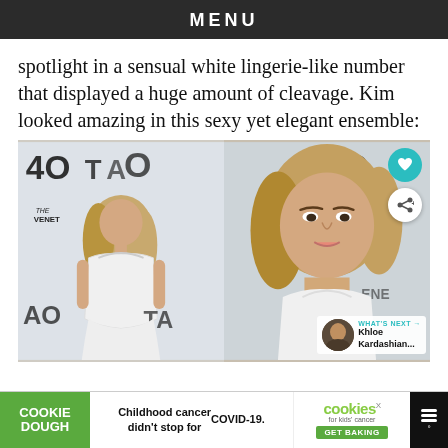MENU
spotlight in a sensual white lingerie-like number that displayed a huge amount of cleavage. Kim looked amazing in this sexy yet elegant ensemble:
[Figure (photo): Two photos of Kim Kardashian at TAO Las Vegas event wearing white lingerie-like outfit; left photo shows full body, right photo is close-up of face; right photo has social media action buttons (heart, share) and a 'What's Next - Khloe Kardashian...' overlay thumbnail]
[Figure (infographic): Advertisement bar: Cookie Dough brand ad reading 'Childhood cancer didn't stop for COVID-19. cookies for kids cancer GET BAKING' with Cookie Dough logo in green on left and cookies brand badge on right]